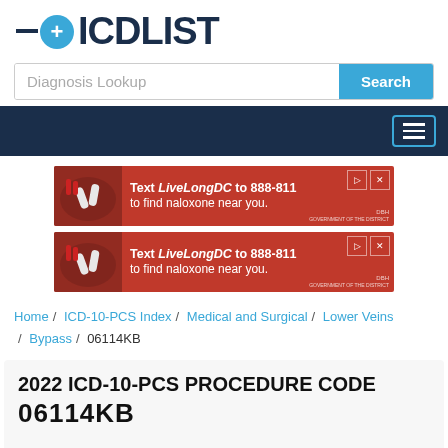ICDLIST
Diagnosis Lookup | Search
[Figure (screenshot): Red advertisement banner: Text LiveLongDC to 888-811 to find naloxone near you. (appears twice)]
Home / ICD-10-PCS Index / Medical and Surgical / Lower Veins / Bypass / 06114KB
2022 ICD-10-PCS PROCEDURE CODE 06114KB